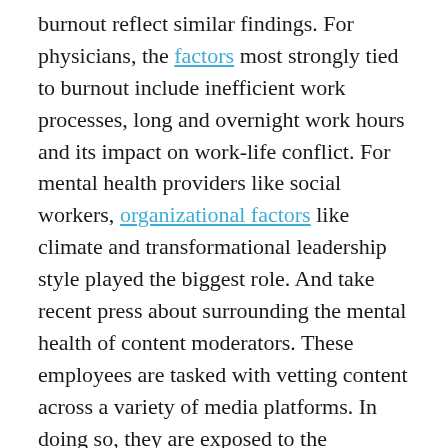burnout reflect similar findings. For physicians, the factors most strongly tied to burnout include inefficient work processes, long and overnight work hours and its impact on work-life conflict. For mental health providers like social workers, organizational factors like climate and transformational leadership style played the biggest role. And take recent press about surrounding the mental health of content moderators. These employees are tasked with vetting content across a variety of media platforms. In doing so, they are exposed to the extremes of racism, bullying, violence and sexual assault for multiple hours a day, several days a week, which has